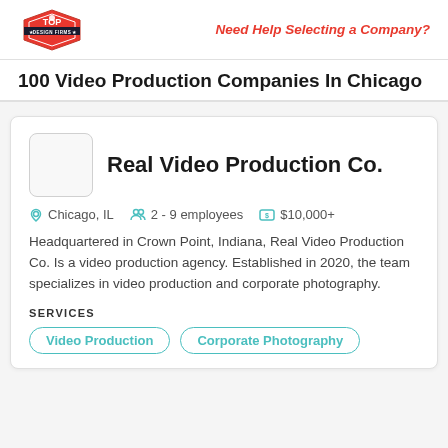Top Design Firms logo | Need Help Selecting a Company?
100 Video Production Companies In Chicago
Real Video Production Co.
Chicago, IL  2 - 9 employees  $10,000+
Headquartered in Crown Point, Indiana, Real Video Production Co. Is a video production agency. Established in 2020, the team specializes in video production and corporate photography.
SERVICES
Video Production
Corporate Photography